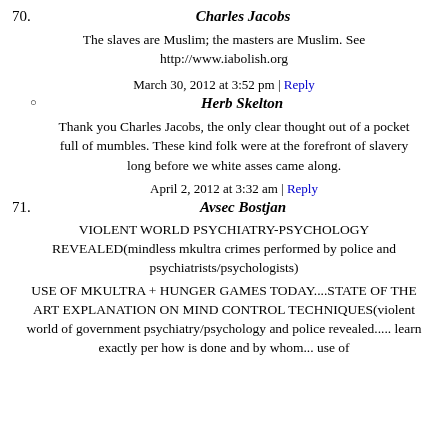70. Charles Jacobs
The slaves are Muslim; the masters are Muslim. See http://www.iabolish.org
March 30, 2012 at 3:52 pm | Reply
Herb Skelton
Thank you Charles Jacobs, the only clear thought out of a pocket full of mumbles. These kind folk were at the forefront of slavery long before we white asses came along.
April 2, 2012 at 3:32 am | Reply
71. Avsec Bostjan
VIOLENT WORLD PSYCHIATRY-PSYCHOLOGY REVEALED(mindless mkultra crimes performed by police and psychiatrists/psychologists)
USE OF MKULTRA + HUNGER GAMES TODAY....STATE OF THE ART EXPLANATION ON MIND CONTROL TECHNIQUES(violent world of government psychiatry/psychology and police revealed..... learn exactly per how is done and by whom... use of